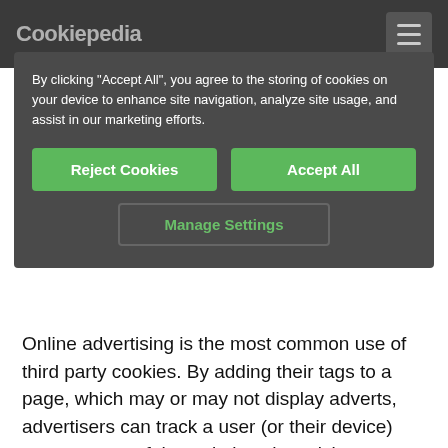Cookiepedia
By clicking "Accept All", you agree to the storing of cookies on your device to enhance site navigation, analyze site usage, and assist in our marketing efforts.
Reject Cookies | Accept All | Manage Settings
Online advertising is the most common use of third party cookies. By adding their tags to a page, which may or may not display adverts, advertisers can track a user (or their device) across many of the websites they visit.
This allows them to build up a 'behavioural profile' of the user, which can then be used to target them